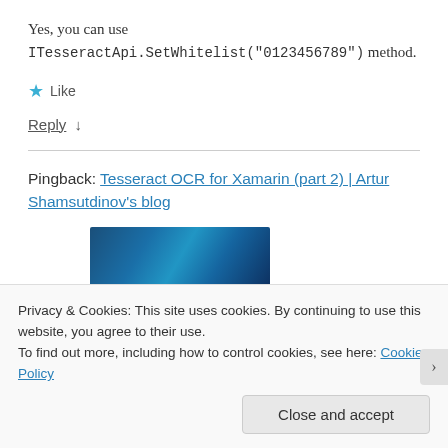Yes, you can use ITesseractApi.SetWhitelist("0123456789") method.
★ Like
Reply ↓
Pingback: Tesseract OCR for Xamarin (part 2) | Artur Shamsutdinov's blog
[Figure (screenshot): Partial screenshot of a blog header image with blue gradient background]
Privacy & Cookies: This site uses cookies. By continuing to use this website, you agree to their use.
To find out more, including how to control cookies, see here: Cookie Policy
Close and accept